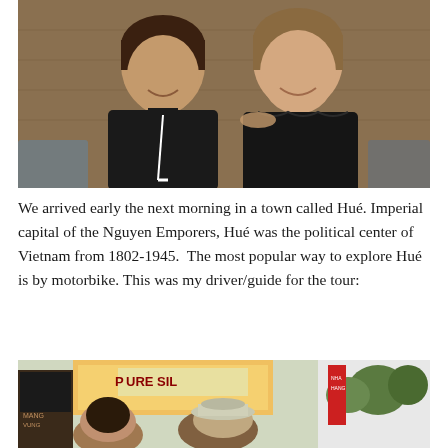[Figure (photo): Two young women sitting together, both wearing black tank tops, smiling at the camera. Warm indoor lighting with wooden background.]
We arrived early the next morning in a town called Hué. Imperial capital of the Nguyen Emporers, Hué was the political center of Vietnam from 1802-1945.  The most popular way to explore Hué is by motorbike. This was my driver/guide for the tour:
[Figure (photo): Street scene in Hué, Vietnam. A woman and a man wearing a cap are visible in the foreground, with shops including a 'Pure Silk' sign in the background, and trees lining the street.]